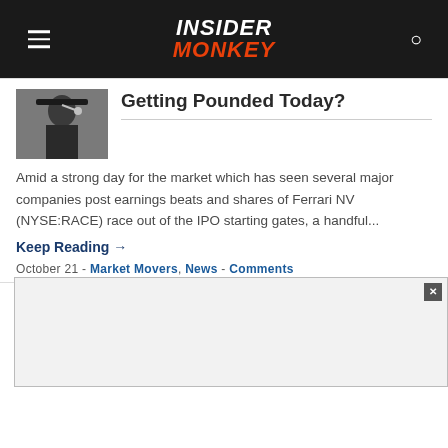INSIDER MONKEY
Getting Pounded Today?
Amid a strong day for the market which has seen several major companies post earnings beats and shares of Ferrari NV (NYSE:RACE) race out of the IPO starting gates, a handful...
Keep Reading →
October 21 - Market Movers, News - Comments
Why Are These Stocks Shining Bright Today?